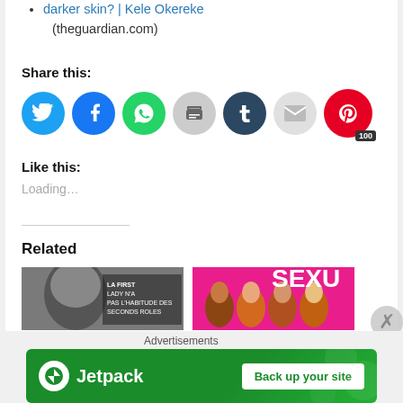darker skin? | Kele Okereke (theguardian.com)
Share this:
[Figure (infographic): Social share buttons: Twitter (blue), Facebook (blue), WhatsApp (green), Print (grey), Tumblr (dark navy), Email (light grey), Pinterest (red) with badge showing 100]
Like this:
Loading...
Related
[Figure (photo): Two related article thumbnail images side by side. Left: greyscale close-up of a person's lower face with text overlay in French. Right: group of diverse women on a pink background with 'SEXU' text.]
Advertisements
[Figure (infographic): Jetpack advertisement banner with green background, Jetpack logo on left and 'Back up your site' button on right]